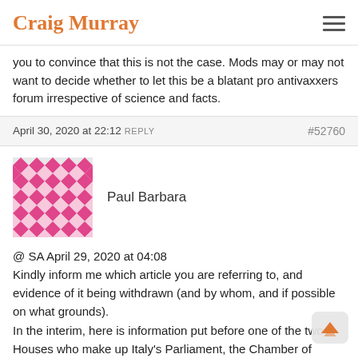Craig Murray
you to convince that this is not the case. Mods may or may not want to decide whether to let this be a blatant pro antivaxxers forum irrespective of science and facts.
April 30, 2020 at 22:12  REPLY   #52760
Paul Barbara
@ SA April 29, 2020 at 04:08
Kindly inform me which article you are referring to, and evidence of it being withdrawn (and by whom, and if possible on what grounds).
In the interim, here is information put before one of the two Houses who make up Italy's Parliament, the Chamber of Deputies, by a doctor (I am trying to get more info about this doctor). The original is in the form of a video, which is in Italian, so I have